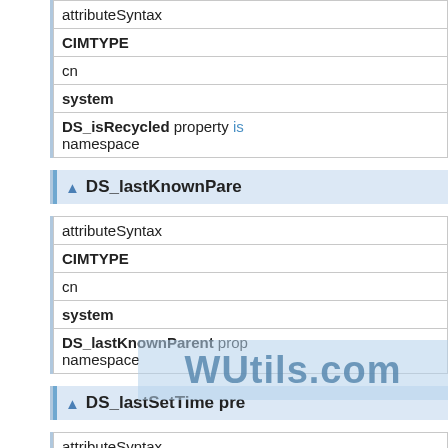| attributeSyntax |
| CIMTYPE |
| cn |
| system |
| DS_isRecycled property is namespace |
▲ DS_lastKnownParent
| attributeSyntax |
| CIMTYPE |
| cn |
| system |
| DS_lastKnownParent prop namespace |
▲ DS_lastSetTime pre
| attributeSyntax |
| CIMTYPE |
| cn |
| system |